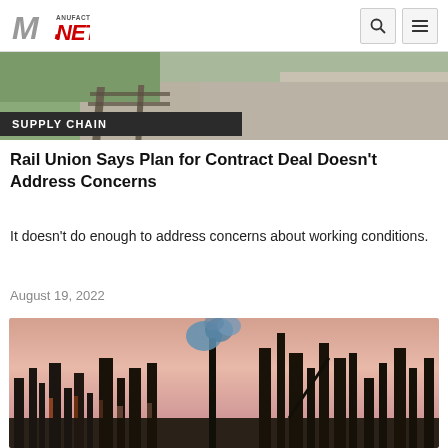Manufacturing.NET
[Figure (photo): Aerial view of railroad tracks with gravel and grass]
SUPPLY CHAIN
Rail Union Says Plan for Contract Deal Doesn't Address Concerns
It doesn't do enough to address concerns about working conditions.
August 19, 2022
[Figure (photo): Industrial factory/refinery at dusk with smoke stacks and blue smoke plume against pink sky]